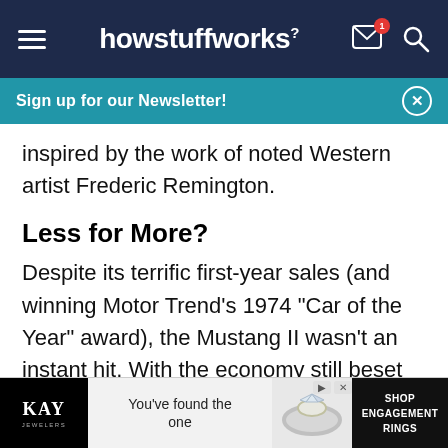howstuffworks
Sign up for our Newsletter!
inspired by the work of noted Western artist Frederic Remington.
Less for More?
Despite its terrific first-year sales (and winning Motor Trend's 1974 "Car of the Year" award), the Mustang II wasn't an instant hit. With the economy still beset by "stagflation," early buyers favored low-priced models with few frills, whereas Ford production planning had assumed just the opposite.
[Figure (screenshot): KAY Jewelers advertisement at bottom of page: black logo area, text 'You've found the one', ring photo, and 'SHOP ENGAGEMENT RINGS' button]